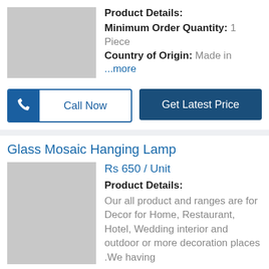[Figure (photo): Gray placeholder image for product]
Product Details:
Minimum Order Quantity: 1 Piece
Country of Origin: Made in
...more
Call Now
Get Latest Price
Glass Mosaic Hanging Lamp
[Figure (photo): Gray placeholder image for Glass Mosaic Hanging Lamp product]
Rs 650 / Unit
Product Details:
Our all product and ranges are for Decor for Home, Restaurant, Hotel, Wedding interior and outdoor or more decoration places .We having